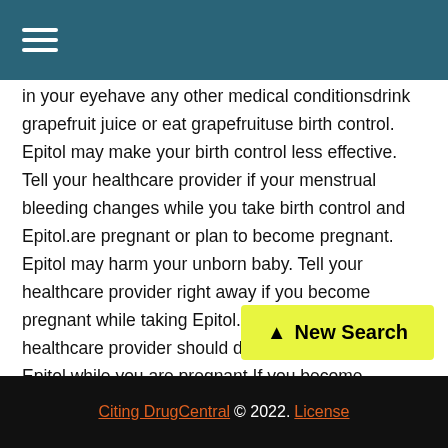≡
in your eyehave any other medical conditionsdrink grapefruit juice or eat grapefruituse birth control. Epitol may make your birth control less effective. Tell your healthcare provider if your menstrual bleeding changes while you take birth control and Epitol.are pregnant or plan to become pregnant. Epitol may harm your unborn baby. Tell your healthcare provider right away if you become pregnant while taking Epitol. You and your healthcare provider should decide if you should take Epitol while you are pregnant.If you become pregnant while taking Epitol, talk to your healthcare provider abou... North American Antiepileptic Drug (N...
Citing DrugCentral © 2022. License